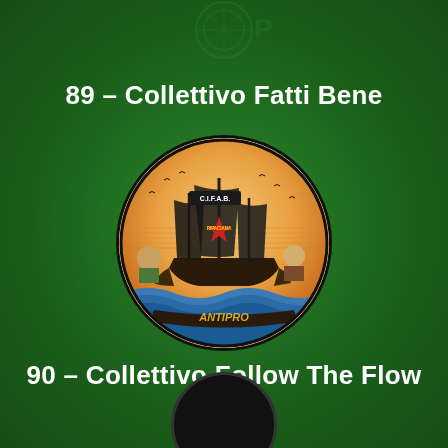[Figure (logo): Faint circular soccer/football club watermark logo at top center, light green outline on dark green background]
89 – Collettivo Fatti Bene
[Figure (illustration): Circular badge/sticker of C.I.F.A.B. Collettivo Fatti Bene showing a pirate ship with black sails on orange-pink sunset sky, waves, cartoon characters, red star with 'RIPACIANA' text, and banner reading 'ANTIPRO' at bottom]
90 – Collettivo Follow The Flow
[Figure (logo): Partial black circular logo/badge visible at the very bottom of the page]